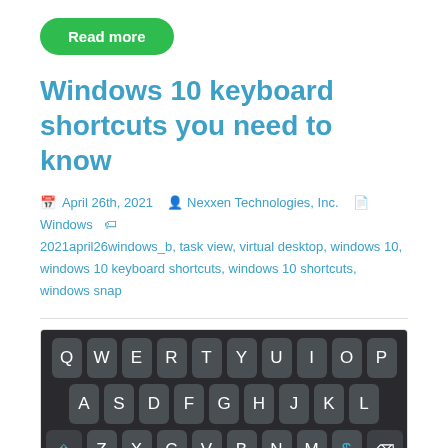Read more
Windows 10 keyboard shortcuts you need to know
April 26th, 2021  Nexxen Technologies, Inc.  Windows  2021april26windows_b, task view, virtual desktop, windows 10, windows 10 keyboard shortcuts, windows 10 shortcuts, windows snap
[Figure (photo): A dark keyboard graphic showing three rows of keys: QWERTYUIOP, ASDFGHJKL, and shift/ZXCVBNM$/backspace]